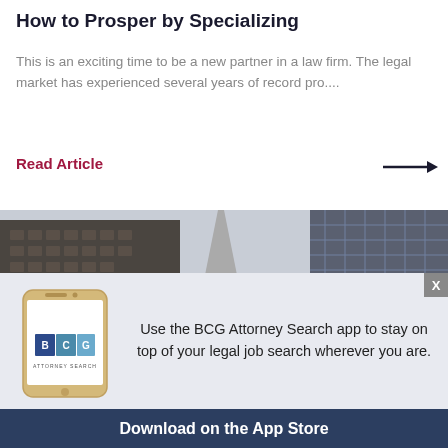How to Prosper by Specializing
This is an exciting time to be a new partner in a law firm. The legal market has experienced several years of record pro....
Read Article
[Figure (photo): Black and white upward view of tall urban skyscrapers including a spire building in the background, with a red circular badge visible on the right edge.]
Use the BCG Attorney Search app to stay on top of your legal job search wherever you are.
Download on the App Store